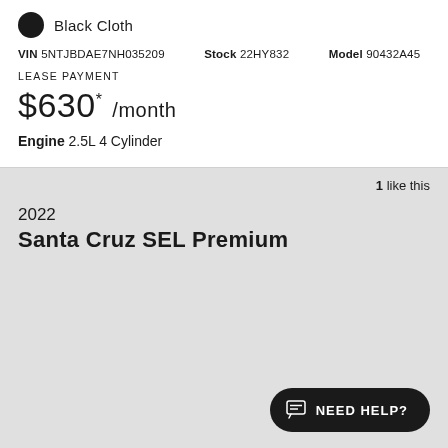Black Cloth
VIN 5NTJBDAE7NH035209  Stock 22HY832  Model 90432A45
LEASE PAYMENT
$630* /month
Engine 2.5L 4 Cylinder
1 like this
2022
Santa Cruz SEL Premium
NEED HELP?